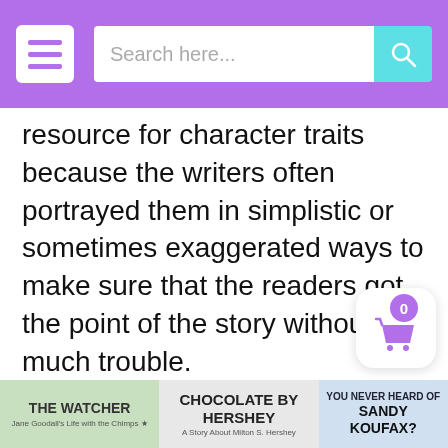Search here...
resource for character traits because the writers often portrayed them in simplistic or sometimes exaggerated ways to make sure that the readers got the point of the story without much trouble.
Fables also have the added “short text” bonus, which I love for practicing skills. Rather than reading 100 pages to figure out a character, we can practice as a class and in 30 minutes or less, we can figure out several of them. Love that about fables!
[Figure (photo): Book covers strip at the bottom: The Watcher, Chocolate by Hershey, You Never Heard of Sandy Koufax]